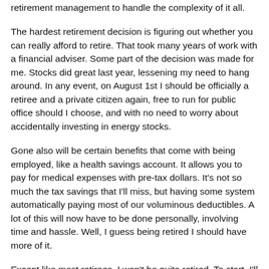retirement management to handle the complexity of it all.
The hardest retirement decision is figuring out whether you can really afford to retire. That took many years of work with a financial adviser. Some part of the decision was made for me. Stocks did great last year, lessening my need to hang around. In any event, on August 1st I should be officially a retiree and a private citizen again, free to run for public office should I choose, and with no need to worry about accidentally investing in energy stocks.
Gone also will be certain benefits that come with being employed, like a health savings account. It allows you to pay for medical expenses with pre-tax dollars. It's not so much the tax savings that I'll miss, but having some system automatically paying most of our voluminous deductibles. A lot of this will now have to be done personally, involving time and hassle. Well, I guess being retired I should have more of it.
Except like most retirees, I won't be quite retired. To start, I'll teach two courses at the local community college, and likely two more the following semester. Something work-like but not full time work will be good to feel engaged and part of the world. But I don't just want to teach again. I also want to learn. On my list of